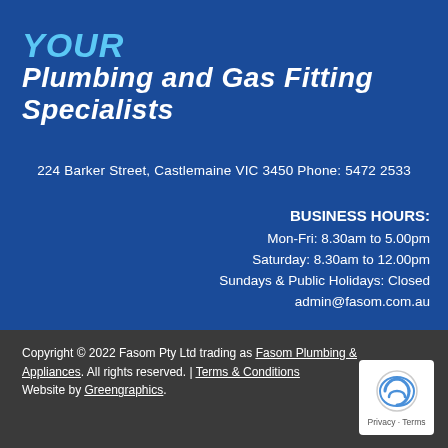YOUR
Plumbing and Gas Fitting Specialists
224 Barker Street, Castlemaine VIC 3450 Phone: 5472 2533
BUSINESS HOURS:
Mon-Fri: 8.30am to 5.00pm
Saturday: 8.30am to 12.00pm
Sundays & Public Holidays: Closed
admin@fasom.com.au
Copyright © 2022 Fasom Pty Ltd trading as Fasom Plumbing & Appliances. All rights reserved. | Terms & Conditions
Website by Greengraphics.